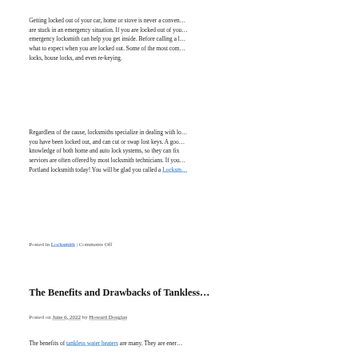Getting locked out of your car, home or stove is never a conven… are stuck in an emergency situation. If you are locked out of yo… emergency locksmith can help you get inside. Before calling a l… what to expect when you are locked out. Some of the most com… locks, house locks, and even re-keying.
Regardless of the cause, locksmiths specialize in dealing with lo… you have been locked out, and can cut or swap lost keys. A goo… knowledge of both home and auto lock systems, so they can fix… services are often offered by most locksmith technicians. If you… Portland locksmith today! You will be glad you called a Locksm…
Posted in Locksmith | Comments Off
The Benefits and Drawbacks of Tankless…
Posted on June 6, 2022 by Howard Douglas
The benefits of tankless water heaters are many. They are energ…